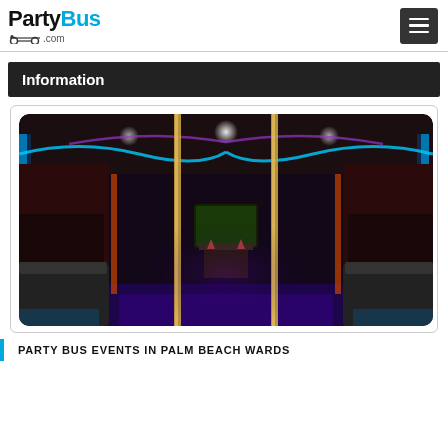PartyBus.com
Information
[Figure (photo): Interior of a party bus showing plush seating along sides, stripper poles, neon blue/purple LED lighting on ceiling and walls, a TV screen and bar area at the far end, dark intimate atmosphere]
PARTY BUS EVENTS IN PALM BEACH WARDS